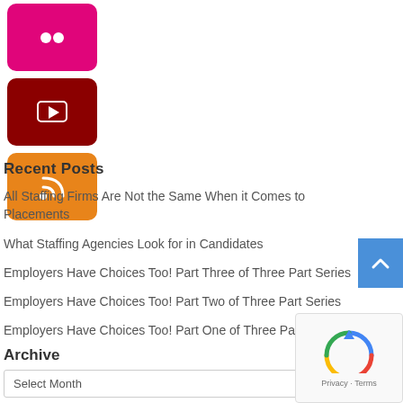[Figure (logo): Pink/magenta rounded square icon with two white dots (Flickr logo style)]
[Figure (logo): Dark red rounded square icon with white play button (YouTube logo style)]
[Figure (logo): Orange rounded square icon with white RSS feed symbol]
Recent Posts
All Staffing Firms Are Not the Same When it Comes to Placements
What Staffing Agencies Look for in Candidates
Employers Have Choices Too! Part Three of Three Part Series
Employers Have Choices Too! Part Two of Three Part Series
Employers Have Choices Too! Part One of Three Part Series
Archive
Select Month